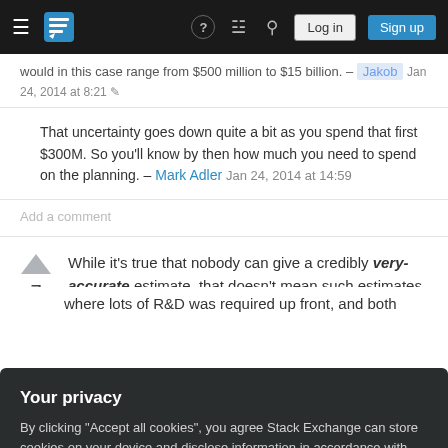Stack Exchange navigation bar with hamburger menu, logo, help, inbox, search icons, Log in and Sign up buttons
would in this case range from $500 million to $15 billion. – Jakob Jan 24, 2014 at 8:21
That uncertainty goes down quite a bit as you spend that first $300M. So you'll know by then how much you need to spend on the planning. – Mark Adler Jan 24, 2014 at 14:59
Add a comment
While it's true that nobody can give a credibly very-accurate estimate, that doesn't mean such estimates are useless. We can look at similar
Your privacy
By clicking "Accept all cookies", you agree Stack Exchange can store cookies on your device and disclose information in accordance with our Cookie Policy.
Accept all cookies   Customize settings
where lots of R&D was required up front, and both